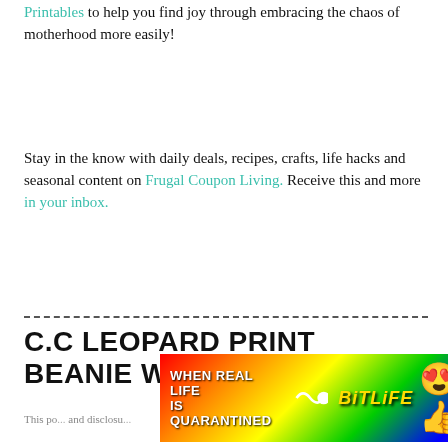Printables to help you find joy through embracing the chaos of motherhood more easily!
Stay in the know with daily deals, recipes, crafts, life hacks and seasonal content on Frugal Coupon Living. Receive this and more in your inbox.
C.C LEOPARD PRINT BEANIE WITH POM
[Figure (screenshot): Advertisement banner: 'WHEN REAL LIFE IS QUARANTINED' with BitLife logo and emoji characters on a rainbow gradient background with close button]
This po... and disclosu...